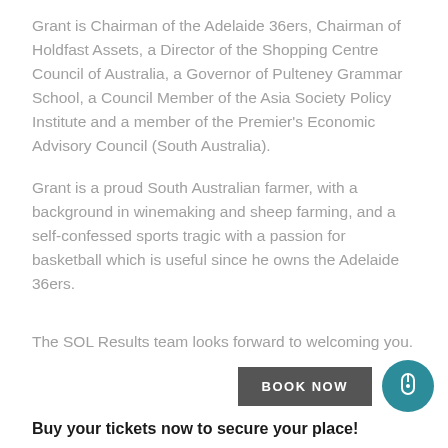Grant is Chairman of the Adelaide 36ers, Chairman of Holdfast Assets, a Director of the Shopping Centre Council of Australia, a Governor of Pulteney Grammar School, a Council Member of the Asia Society Policy Institute and a member of the Premier's Economic Advisory Council (South Australia).
Grant is a proud South Australian farmer, with a background in winemaking and sheep farming, and a self-confessed sports tragic with a passion for basketball which is useful since he owns the Adelaide 36ers.
The SOL Results team looks forward to welcoming you.
BOOK NOW
Buy your tickets now to secure your place!